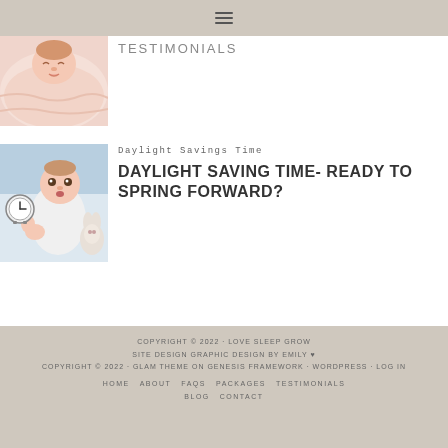☰ (menu icon)
[Figure (photo): Sleeping newborn baby wrapped in pink blanket (partial view, top cropped)]
TESTIMONIALS
[Figure (photo): Awake baby in white outfit lying next to a clock and a stuffed bunny toy on a blue background]
Daylight Savings Time
DAYLIGHT SAVING TIME- READY TO SPRING FORWARD?
COPYRIGHT © 2022 · LOVE SLEEP GROW
SITE DESIGN GRAPHIC DESIGN BY EMILY ♥
COPYRIGHT © 2022 · GLAM THEME ON GENESIS FRAMEWORK · WORDPRESS · LOG IN
HOME   ABOUT   FAQS   PACKAGES   TESTIMONIALS   BLOG   CONTACT